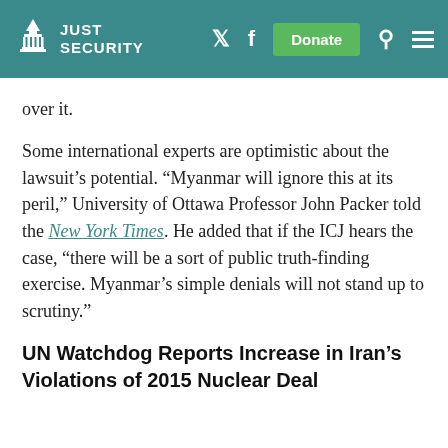JUST SECURITY
over it.
Some international experts are optimistic about the lawsuit’s potential. “Myanmar will ignore this at its peril,” University of Ottawa Professor John Packer told the New York Times. He added that if the ICJ hears the case, “there will be a sort of public truth-finding exercise. Myanmar’s simple denials will not stand up to scrutiny.”
UN Watchdog Reports Increase in Iran’s Violations of 2015 Nuclear Deal